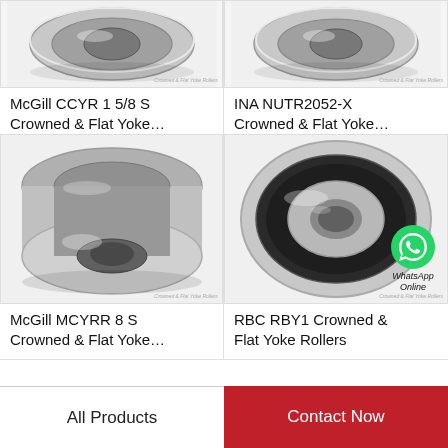[Figure (photo): McGill CCYR 1 5/8 S crowned and flat yoke roller bearing - metallic cylindrical bearing photo]
McGill CCYR 1 5/8 S Crowned & Flat Yoke…
[Figure (photo): INA NUTR2052-X crowned and flat yoke roller bearing - metallic cylindrical bearing photo]
INA NUTR2052-X Crowned & Flat Yoke…
[Figure (photo): McGill MCYRR 8 S crowned and flat yoke roller bearing - metallic cylindrical bearing photo]
McGill MCYRR 8 S Crowned & Flat Yoke…
[Figure (photo): RBC RBY1 crowned and flat yoke roller bearing with WhatsApp Online badge overlay]
RBC RBY1 Crowned & Flat Yoke Rollers
All Products
Contact Now